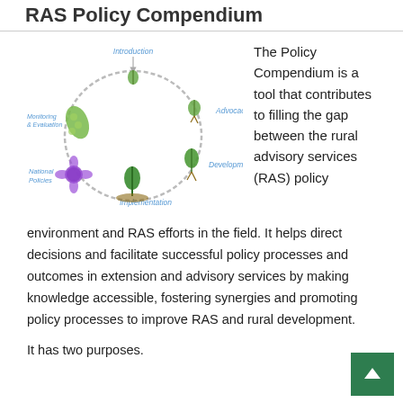RAS Policy Compendium
[Figure (illustration): A circular diagram showing the policy cycle with plant growth metaphor. Stages labeled: Introduction (top, small sprout), Advocacy (right-top, small sprout with roots), Development (right-bottom, larger sprout with roots), Implementation (bottom, tall plant in soil), National Policies (left, purple flower), Monitoring & Evaluation (left-top, green pea pod). Stages connected by dashed circular arrows.]
The Policy Compendium is a tool that contributes to filling the gap between the rural advisory services (RAS) policy environment and RAS efforts in the field. It helps direct decisions and facilitate successful policy processes and outcomes in extension and advisory services by making knowledge accessible, fostering synergies and promoting policy processes to improve RAS and rural development.
It has two purposes.